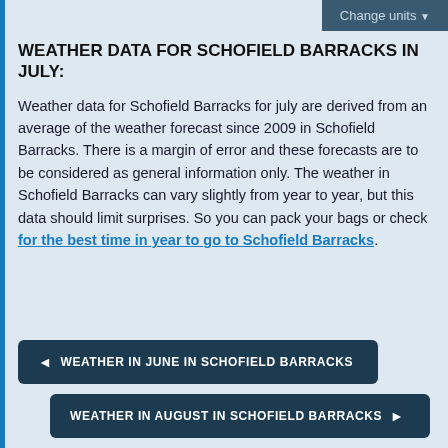WEATHER DATA FOR SCHOFIELD BARRACKS IN JULY:
Weather data for Schofield Barracks for july are derived from an average of the weather forecast since 2009 in Schofield Barracks. There is a margin of error and these forecasts are to be considered as general information only. The weather in Schofield Barracks can vary slightly from year to year, but this data should limit surprises. So you can pack your bags or check for the best time in year to go to Schofield Barracks.
◄ WEATHER IN JUNE IN SCHOFIELD BARRACKS
WEATHER IN AUGUST IN SCHOFIELD BARRACKS ►